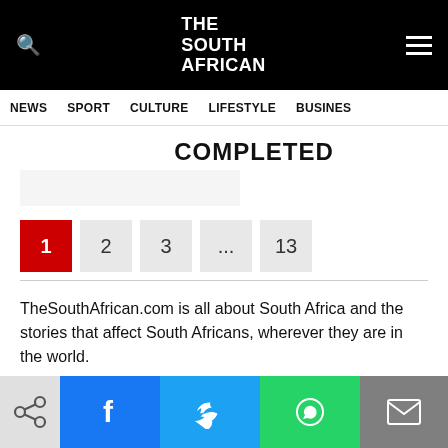THE SOUTH AFRICAN
NEWS  SPORT  CULTURE  LIFESTYLE  BUSINESS
COMPLETED
1  2  3  ...  13
TheSouthAfrican.com is all about South Africa and the stories that affect South Africans, wherever they are in the world.

We're independent.
No agenda.
No Bias.
[Figure (screenshot): Social share bar with Facebook, Twitter, WhatsApp, and Email buttons]